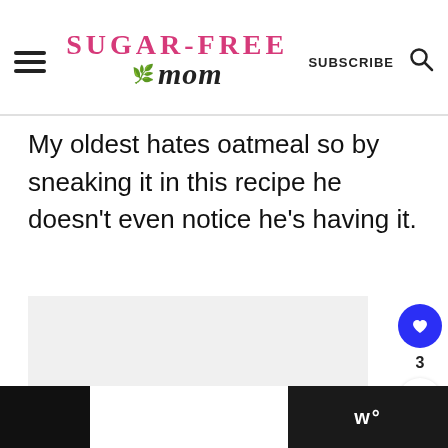Sugar-Free Mom — SUBSCRIBE
My oldest hates oatmeal so by sneaking it in this recipe he doesn't even notice he's having it.
[Figure (photo): Light gray image placeholder area below the text]
w° (logo watermark)